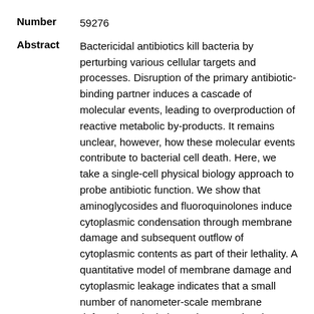Number   59276
Abstract   Bactericidal antibiotics kill bacteria by perturbing various cellular targets and processes. Disruption of the primary antibiotic-binding partner induces a cascade of molecular events, leading to overproduction of reactive metabolic by-products. It remains unclear, however, how these molecular events contribute to bacterial cell death. Here, we take a single-cell physical biology approach to probe antibiotic function. We show that aminoglycosides and fluoroquinolones induce cytoplasmic condensation through membrane damage and subsequent outflow of cytoplasmic contents as part of their lethality. A quantitative model of membrane damage and cytoplasmic leakage indicates that a small number of nanometer-scale membrane defects in a single bacterium can give rise to the cellular-scale phenotype of cytoplasmic condensation. Furthermore, cytoplasmic condensation is associated with the accumulation of reactive